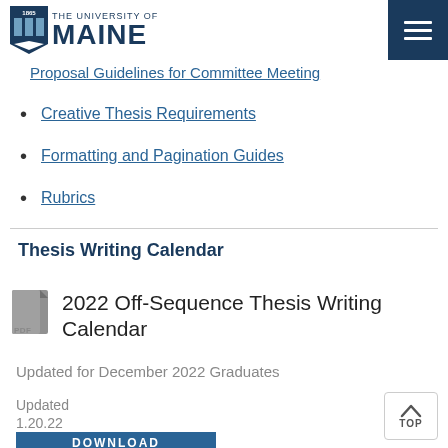THE UNIVERSITY OF MAINE
Proposal Guidelines for Committee Meeting
Creative Thesis Requirements
Formatting and Pagination Guides
Rubrics
Thesis Writing Calendar
2022 Off-Sequence Thesis Writing Calendar
Updated for December 2022 Graduates
Updated
1.20.22